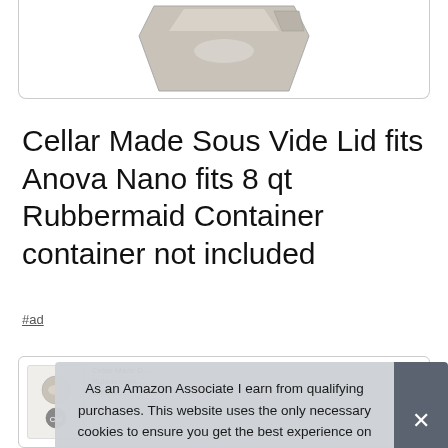[Figure (photo): Partial view of a sous vide lid product image (light gray/beige plastic lid), bottom portion visible in a bordered card.]
Cellar Made Sous Vide Lid fits Anova Nano fits 8 qt Rubbermaid Container container not included
#ad
[Figure (photo): Small product thumbnail card showing the sous vide lid, partially obscured by cookie consent banner. Contains small text: 'Cellar Made Sous Vide...', 'Rubbermaid...', 'Lifetime...']
As an Amazon Associate I earn from qualifying purchases. This website uses the only necessary cookies to ensure you get the best experience on our website. More information